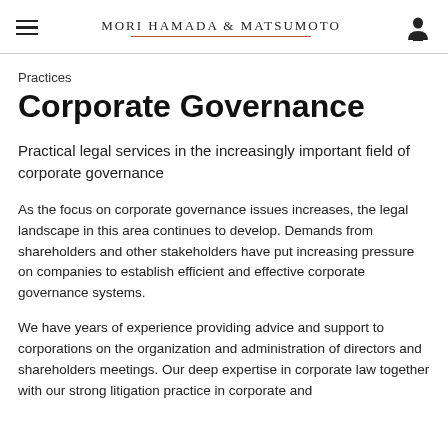Mori Hamada & Matsumoto
Practices
Corporate Governance
Practical legal services in the increasingly important field of corporate governance
As the focus on corporate governance issues increases, the legal landscape in this area continues to develop. Demands from shareholders and other stakeholders have put increasing pressure on companies to establish efficient and effective corporate governance systems.
We have years of experience providing advice and support to corporations on the organization and administration of directors and shareholders meetings. Our deep expertise in corporate law together with our strong litigation practice in corporate and